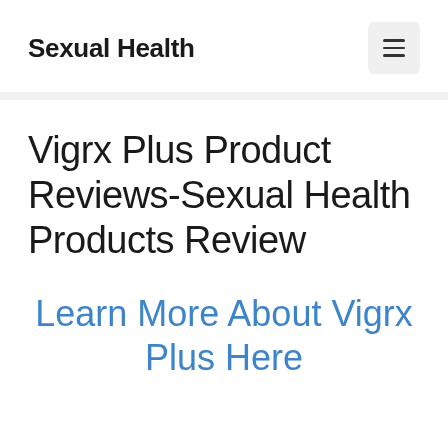Sexual Health
Vigrx Plus Product Reviews-Sexual Health Products Review
Learn More About Vigrx Plus Here